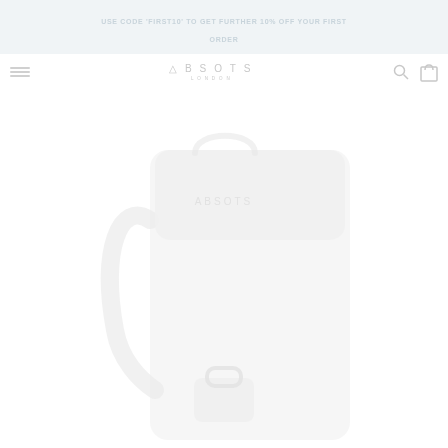USE CODE 'FIRST10' TO GET FURTHER 10% OFF YOUR FIRST ORDER
[Figure (screenshot): E-commerce website header with hamburger menu, ABSOTS logo, search and cart icons]
[Figure (photo): Product photo of a white/light colored bag or luggage item on a white background, very faint and washed out]